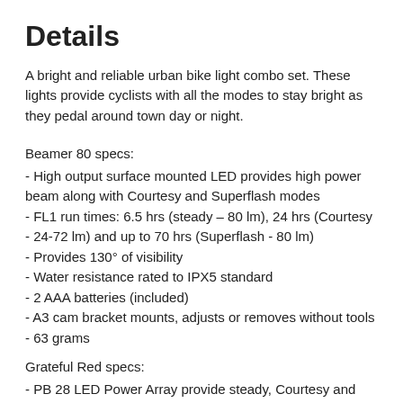Details
A bright and reliable urban bike light combo set. These lights provide cyclists with all the modes to stay bright as they pedal around town day or night.
Beamer 80 specs:
- High output surface mounted LED provides high power beam along with Courtesy and Superflash modes
- FL1 run times: 6.5 hrs (steady – 80 lm), 24 hrs (Courtesy
- 24-72 lm) and up to 70 hrs (Superflash - 80 lm)
- Provides 130° of visibility
- Water resistance rated to IPX5 standard
- 2 AAA batteries (included)
- A3 cam bracket mounts, adjusts or removes without tools
- 63 grams
Grateful Red specs:
- PB 28 LED Power Array provide steady, Courtesy and Superflash modes